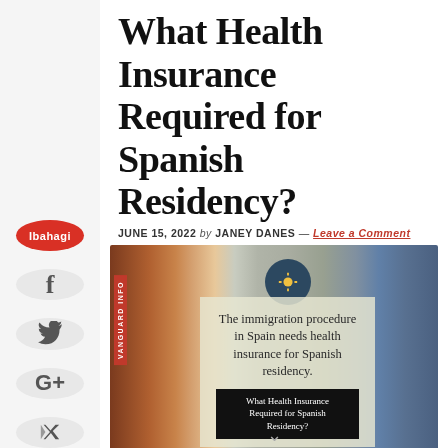What Health Insurance Required for Spanish Residency?
JUNE 15, 2022 by JANEY DANES — Leave a Comment
[Figure (photo): Photo of a Spanish coastal town/harbor at dusk with an overlay panel reading 'The immigration procedure in Spain needs health insurance for Spanish residency.' and a small label box 'What Health Insurance Required for Spanish Residency?']